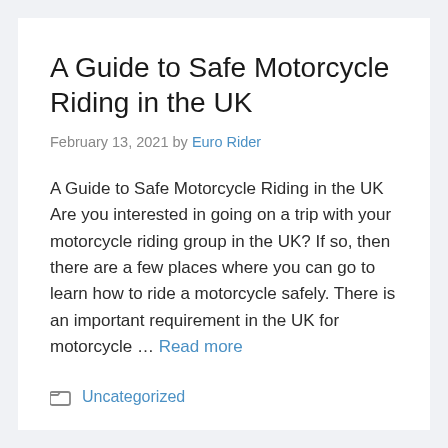A Guide to Safe Motorcycle Riding in the UK
February 13, 2021 by Euro Rider
A Guide to Safe Motorcycle Riding in the UK Are you interested in going on a trip with your motorcycle riding group in the UK? If so, then there are a few places where you can go to learn how to ride a motorcycle safely. There is an important requirement in the UK for motorcycle … Read more
Uncategorized